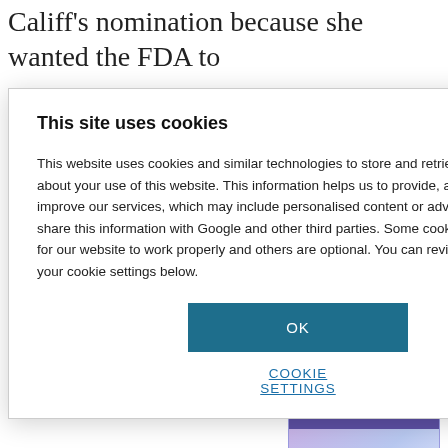Califf's nomination because she wanted the FDA to
ed salmon. But
ier his month,
cerns are being
[Figure (screenshot): Cookie consent modal dialog with title 'This site uses cookies', body text about cookies and similar technologies, an OK button, and a COOKIE SETTINGS link]
[Figure (screenshot): Advertisement block with purple banner showing 'RLD' text, 'NAR' text below, an image area with light purple/blue tones, and 'STATISTICAL DISCOVERY' text at the bottom]